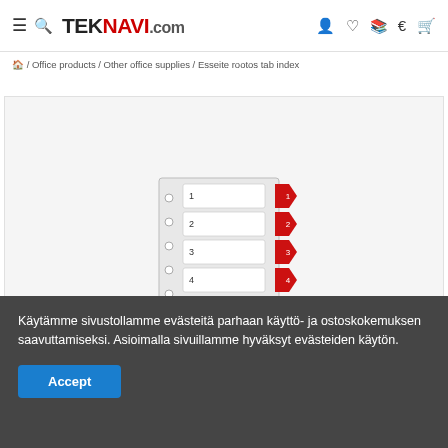≡ 🔍 TEKNAVI.com 👤 ♡ 🔖 € 🛒
🏠 / Office products / Other office supplies / Esseite rootos tab index
[Figure (photo): Product image of a white tab index divider with 4 numbered red-arrow tabs labeled 1, 2, 3, 4 on the right side, with holes punched on the left side, shown on light gray background.]
Käytämme sivustollamme evästeitä parhaan käyttö- ja ostoskokemuksen saavuttamiseksi. Asioimalla sivuillamme hyväksyt evästeiden käytön.
Accept